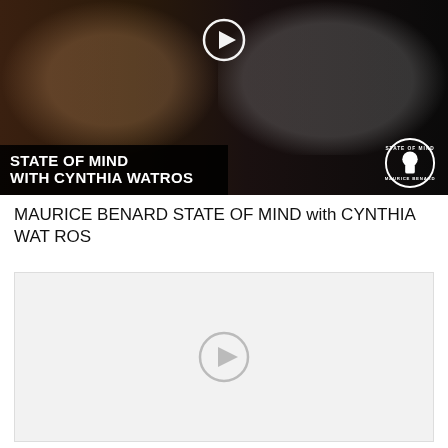[Figure (screenshot): Video thumbnail for 'Maurice Benard State of Mind with Cynthia Watros'. Shows two people (a woman on the left and a man on the right) with bold white text overlay reading 'STATE OF MIND WITH CYNTHIA WATROS' on a dark background, a play button icon at the top center, and a circular logo in the bottom right corner.]
MAURICE BENARD STATE OF MIND with CYNTHIA WATROS
[Figure (screenshot): A second video player placeholder with a light gray background and a faint circular play button icon in the center.]